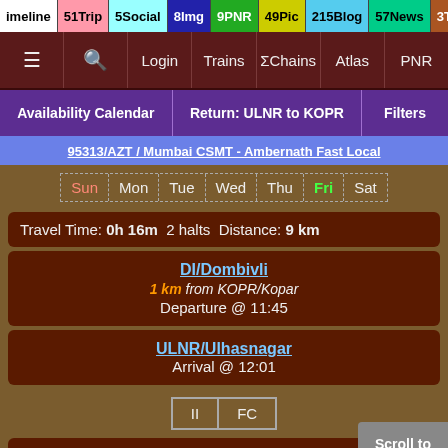imeline 51 Trip 5 Social 8 Img 9 PNR 49 Pic 215 Blog 57 News 3 Topic
≡  🔍  Login  Trains  ΣChains  Atlas  PNR
Availability Calendar | Return: ULNR to KOPR | Filters
95313/AZT / Mumbai CSMT - Ambernath Fast Local
Sun Mon Tue Wed Thu Fri Sat
Travel Time: 0h 16m  2 halts  Distance: 9 km
DI/Dombivli
1 km from KOPR/Kopar
Departure @ 11:45
ULNR/Ulhasnagar
Arrival @ 12:01
II  FC
Dep Time Changed. Arr Time Changed. Slowed down by: 3m. Sn...
TT Updated: Aug 12 (19:06) by NamanL^~